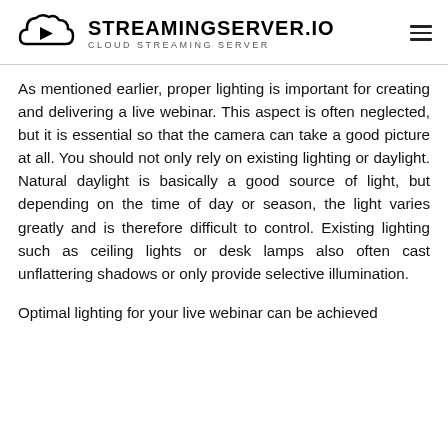STREAMINGSERVER.IO CLOUD STREAMING SERVER
As mentioned earlier, proper lighting is important for creating and delivering a live webinar. This aspect is often neglected, but it is essential so that the camera can take a good picture at all. You should not only rely on existing lighting or daylight. Natural daylight is basically a good source of light, but depending on the time of day or season, the light varies greatly and is therefore difficult to control. Existing lighting such as ceiling lights or desk lamps also often cast unflattering shadows or only provide selective illumination.
Optimal lighting for your live webinar can be achieved